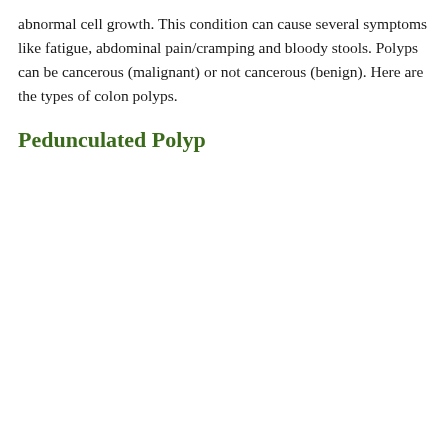abnormal cell growth. This condition can cause several symptoms like fatigue, abdominal pain/cramping and bloody stools. Polyps can be cancerous (malignant) or not cancerous (benign). Here are the types of colon polyps.
Pedunculated Polyp